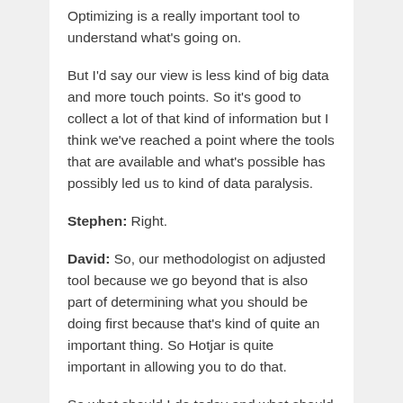Optimizing is a really important tool to understand what's going on.
But I'd say our view is less kind of big data and more touch points. So it's good to collect a lot of that kind of information but I think we've reached a point where the tools that are available and what's possible has possibly led us to kind of data paralysis.
Stephen: Right.
David: So, our methodologist on adjusted tool because we go beyond that is also part of determining what you should be doing first because that's kind of quite an important thing. So Hotjar is quite important in allowing you to do that.
So what should I do today and what should I do later and what's the biggest, hottest